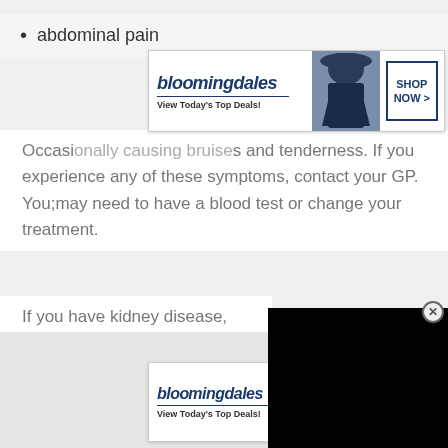abdominal pain
[Figure (screenshot): Bloomingdale's advertisement banner - 'View Today's Top Deals! SHOP NOW >']
Occasionally causing bruising and tenderness. If you experience any of these symptoms, contact your GP. You;may need to have a blood test or change your treatment.
If you have kidney disease, you may be asked to reduce your daily fluid and salt intake. You m... as your kidneys will not be able t... they did before.
[Figure (screenshot): Black video overlay popup with close button (X)]
[Figure (screenshot): Gray advertisement placeholder box with CLOSE button]
[Figure (screenshot): Bloomingdale's advertisement banner - 'View Today's Top Deals! SHOP NOW >' at bottom]